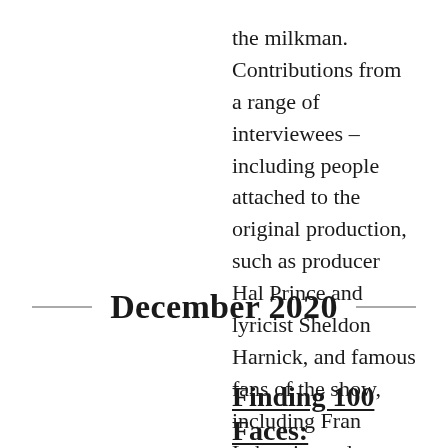the milkman. Contributions from a range of interviewees – including people attached to the original production, such as producer Hal Prince and lyricist Sheldon Harnick, and famous fans of the show, including Fran Lebowitz and Hamilton creator Lin-Manuel...
Find out more »
December 2020
Finding 100 Faces: capturing Jewish